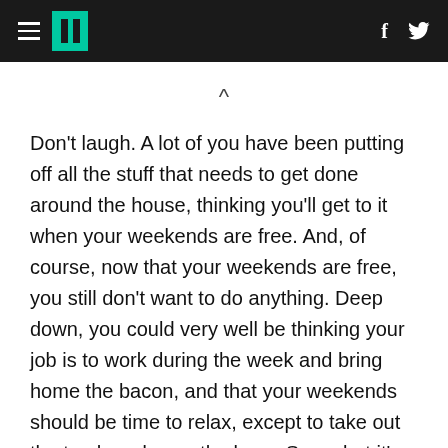HuffPost navigation header with hamburger menu, logo, Facebook and Twitter icons
^
Don't laugh. A lot of you have been putting off all the stuff that needs to get done around the house, thinking you'll get to it when your weekends are free. And, of course, now that your weekends are free, you still don't want to do anything. Deep down, you could very well be thinking your job is to work during the week and bring home the bacon, and that your weekends should be time to relax, except to take out the trash and mow the lawn. Sorry, but it's up to you to get that broken gutter fixed. For one thing, you'll definitely feel better about yourself at least